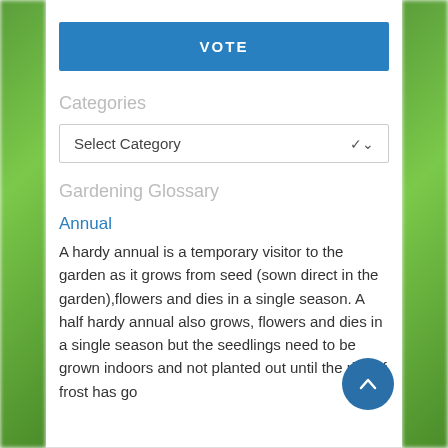VOTE
Categories
Select Category
Gardening Glossary
Annual
A hardy annual is a temporary visitor to the garden as it grows from seed (sown direct in the garden),flowers and dies in a single season. A half hardy annual also grows, flowers and dies in a single season but the seedlings need to be grown indoors and not planted out until the risk of frost has go